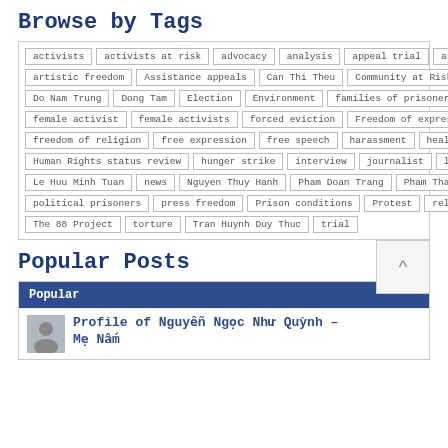Browse by Tags
activists, activists at risk, advocacy, analysis, appeal trial, arrest, artistic freedom, Assistance appeals, Can Thi Theu, Community at Risk, cybersecurity, Do Nam Trung, Dong Tam, Election, Environment, families of prisoners, female activist, female activists, forced eviction, Freedom of expression, freedom of religion, free expression, free speech, harassment, health, human rights, Human Rights status review, hunger strike, interview, journalist, land grabs, Le Huu Minh Tuan, news, Nguyen Thuy Hanh, Pham Doan Trang, Pham Thanh Nghien, political prisoners, press freedom, Prison conditions, Protest, release, The 88 Project, torture, Tran Huynh Duy Thuc, trial
Popular Posts
Popular
Profile of Nguyễn Ngọc Như Quỳnh – Mẹ Nấm